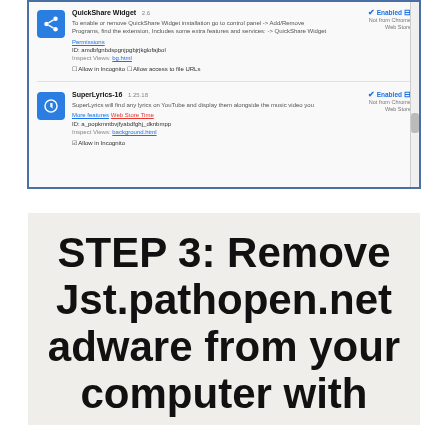[Figure (screenshot): Chrome browser extensions management page showing QuickShare Widget and SuperLyrics extensions, both marked as Enabled, with Not from Chrome Web Store labels.]
STEP 3: Remove Jst.pathopen.net adware from your computer with